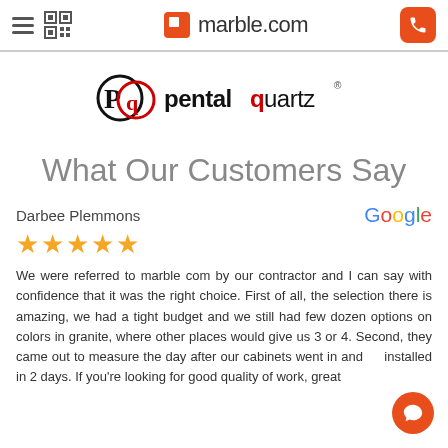marble.com
[Figure (logo): Pental Quartz logo with circular PQ icon and stylized text 'pentalquartz' with registered trademark symbol]
What Our Customers Say
Darbee Plemmons
★★★★★
We were referred to marble com by our contractor and I can say with confidence that it was the right choice. First of all, the selection there is amazing, we had a tight budget and we still had few dozen options on colors in granite, where other places would give us 3 or 4. Second, they came out to measure the day after our cabinets went in and installed in 2 days. If you're looking for good quality of work, great